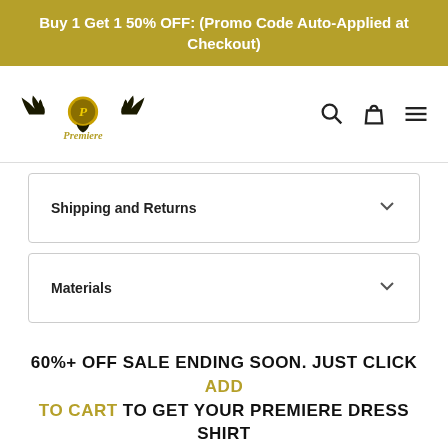Buy 1 Get 1 50% OFF: (Promo Code Auto-Applied at Checkout)
[Figure (logo): Premiere brand logo with eagle wings and gold P emblem, cursive Premiere text below]
Shipping and Returns
Materials
60%+ OFF SALE ENDING SOON. JUST CLICK ADD TO CART TO GET YOUR PREMIERE DRESS SHIRT TODAY!
[Figure (photo): Partial image of model wearing dress shirt, bottom of page]